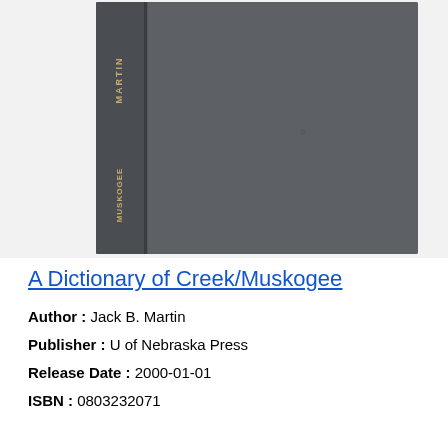[Figure (photo): Photo of a hardcover book showing its spine and front cover. The book is dark gray/charcoal colored. Text on the spine reads 'MARTIN' and 'MUSKOGEE' in gold lettering. The book is photographed against a white background.]
A Dictionary of Creek/Muskogee
Author : Jack B. Martin
Publisher : U of Nebraska Press
Release Date : 2000-01-01
ISBN : 0803232071